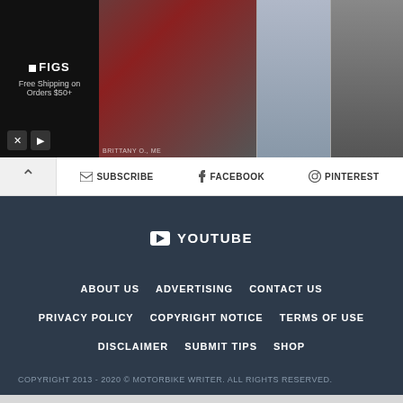[Figure (screenshot): Advertisement banner for FIGS scrubs/medical apparel showing brand logo with 'Free Shipping on Orders $50+', a woman in dark red outfit, and product images of scrub top and tote bag]
SUBSCRIBE   FACEBOOK   PINTEREST
YOUTUBE
ABOUT US
ADVERTISING
CONTACT US
PRIVACY POLICY
COPYRIGHT NOTICE
TERMS OF USE
DISCLAIMER
SUBMIT TIPS
SHOP
COPYRIGHT 2013 - 2020 © MOTORBIKE WRITER. ALL RIGHTS RESERVED.